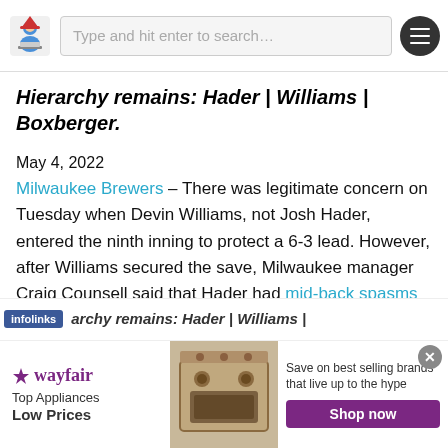Type and hit enter to search…
picking up his first save of the season. He doesn't…
Hierarchy remains: Hader | Williams | Boxberger.
May 4, 2022
Milwaukee Brewers – There was legitimate concern on Tuesday when Devin Williams, not Josh Hader, entered the ninth inning to protect a 6-3 lead. However, after Williams secured the save, Milwaukee manager Craig Counsell said that Hader had mid-back spasms and should be available either Wednesday or Thursday.
[Figure (screenshot): Infolinks advertisement bar at the bottom of the page showing 'archy remains: Hader | Williams |']
[Figure (screenshot): Wayfair advertisement banner showing logo, 'Top Appliances Low Prices', appliance image, 'Save on best selling brands that live up to the hype', and 'Shop now' button]